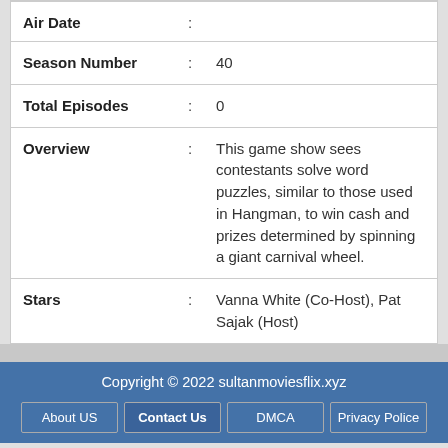| Air Date | : |  |
| Season Number | : | 40 |
| Total Episodes | : | 0 |
| Overview | : | This game show sees contestants solve word puzzles, similar to those used in Hangman, to win cash and prizes determined by spinning a giant carnival wheel. |
| Stars | : | Vanna White (Co-Host), Pat Sajak (Host) |
Copyright © 2022 sultanmoviesflix.xyz
About US
Contact Us
DMCA
Privacy Police